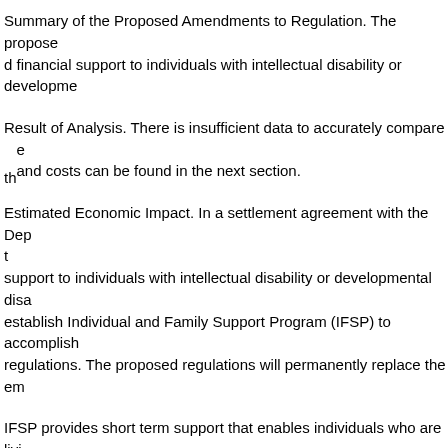Summary of the Proposed Amendments to Regulation. The proposed financial support to individuals with intellectual disability or developmental…
Result of Analysis. There is insufficient data to accurately compare the and costs can be found in the next section.
Estimated Economic Impact. In a settlement agreement with the Department, support to individuals with intellectual disability or developmental disability, establish Individual and Family Support Program (IFSP) to accomplish regulations. The proposed regulations will permanently replace the em…
IFSP provides short term support that enables individuals who are living for Intellectual Disability Medicaid Waiver or Developmental Disabilities individuals to continue to remain in their own homes or a family home transportation services, behavioral consultation and management services, directly support the individual; temporary assistance with rent, utilities medical expenses of the individual; family education, information, and and crisis support.
IFSP will provide limited relief to a minimum of 1,000 individuals and the settlement agreement requirements. The funds available to the program…